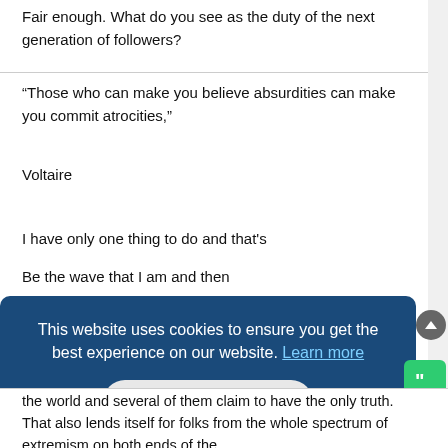Fair enough. What do you see as the duty of the next generation of followers?
“Those who can make you believe absurdities can make you commit atrocities,”
Voltaire
I have only one thing to do and that's
Be the wave that I am and then
Sink back into the ocean
Fiona Apple
This website uses cookies to ensure you get the best experience on our website. Learn more
Got it!
the world and several of them claim to have the only truth. That also lends itself for folks from the whole spectrum of extremism on both ends of the